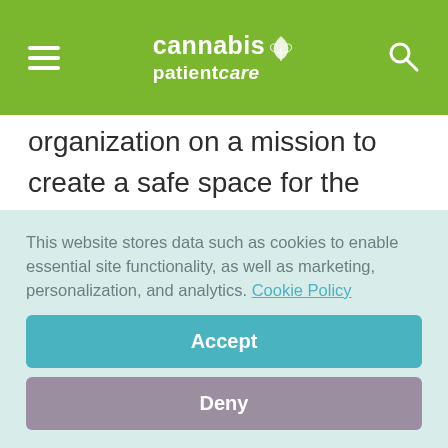cannabis patientcare
organization on a mission to create a safe space for the education, advocacy, and empowerment of alternative therapies for veterans and their families. BVN partners with professionals, businesses, and other organizations to support veterans and their families to live a better, more balanced life.
This website stores data such as cookies to enable essential site functionality, as well as marketing, personalization, and analytics. Cookie Policy
Accept
Deny